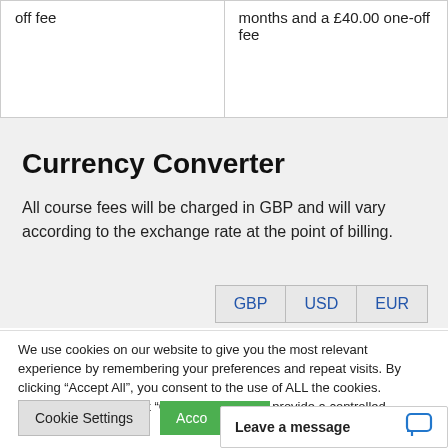|  |  |
| --- | --- |
| off fee | months and a £40.00 one-off fee |
Currency Converter
All course fees will be charged in GBP and will vary according to the exchange rate at the point of billing.
GBP  USD  EUR
We use cookies on our website to give you the most relevant experience by remembering your preferences and repeat visits. By clicking "Accept All", you consent to the use of ALL the cookies. However, you may visit "Cookie Settings" to provide a controlled consent.
Cookie Settings  Acco...
Leave a message